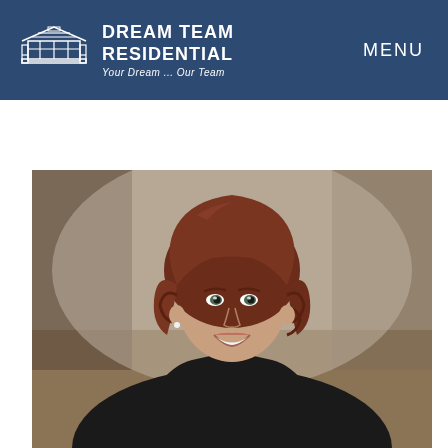DREAM TEAM RESIDENTIAL — Your Dream... Our Team | MENU
[Figure (photo): Professional headshot of a woman with curly auburn hair wearing a black blazer, smiling, with blurred outdoor background]